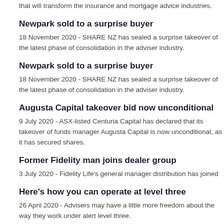that will transform the insurance and mortgage advice industries.
Newpark sold to a surprise buyer
18 November 2020 - SHARE NZ has sealed a surprise takeover of the latest phase of consolidation in the adviser industry.
Newpark sold to a surprise buyer
18 November 2020 - SHARE NZ has sealed a surprise takeover of the latest phase of consolidation in the adviser industry.
Augusta Capital takeover bid now unconditional
9 July 2020 - ASX-listed Centuria Capital has declared that its takeover of funds manager Augusta Capital is now unconditional, as it has secured shares.
Former Fidelity man joins dealer group
3 July 2020 - Fidelity Life's general manager distribution has joined
Here's how you can operate at level three
26 April 2020 - Advisers may have a little more freedom about the way they work under alert level three.